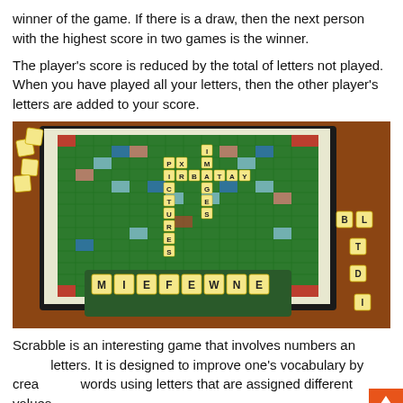winner of the game. If there is a draw, then the next person with the highest score in two games is the winner.
The player's score is reduced by the total of letters not played. When you have played all your letters, then the other player's letters are added to your score.
[Figure (photo): Photograph of a Scrabble board game in progress on a wooden table. The board shows words including PICTURES, IMAGES, BRAT and others formed with letter tiles. A tile rack at the bottom holds letters M, I, E, F, E, W, N, E. Additional loose tiles are visible around the board.]
Scrabble is an interesting game that involves numbers and letters. It is designed to improve one's vocabulary by creating words using letters that are assigned different values.